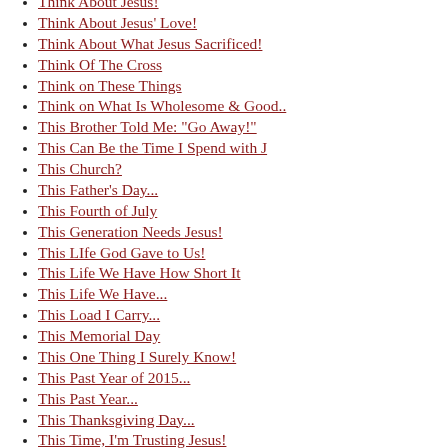Think About Jesus!
Think About Jesus' Love!
Think About What Jesus Sacrificed!
Think Of The Cross
Think on These Things
Think on What Is Wholesome & Good..
This Brother Told Me: "Go Away!"
This Can Be the Time I Spend with J
This Church?
This Father's Day...
This Fourth of July
This Generation Needs Jesus!
This LIfe God Gave to Us!
This Life We Have How Short It
This Life We Have...
This Load I Carry...
This Memorial Day
This One Thing I Surely Know!
This Past Year of 2015...
This Past Year...
This Thanksgiving Day...
This Time, I'm Trusting Jesus!
This World or Jesus?
This World Shall ONe Day End!
This World Will Soon Be Ending! A
Those Who Have Wronged Us...
Those You Haven't Forgiven Could Be
Through Life's Triuals and Hardship
Through Our Trials... Jesus Is Her
Through Pain and Suffering... There